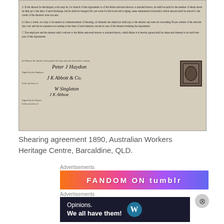[Figure (photo): Photograph of a historical shearing agreement document from 1890, showing handwritten text clauses and signatures including 'Peter J Haydon', 'J K Abbott', 'W Singleton', and a postage stamp impression.]
Shearing agreement 1890, Australian Workers Heritage Centre, Barcaldine, QLD.
Advertisements
[Figure (screenshot): Colorful advertisement banner with gradient colors (orange to purple) showing text 'FANDOM ON tumblr']
Advertisements
[Figure (screenshot): Dark advertisement banner for WordPress showing 'Opinions. We all have them!' with WordPress logo]